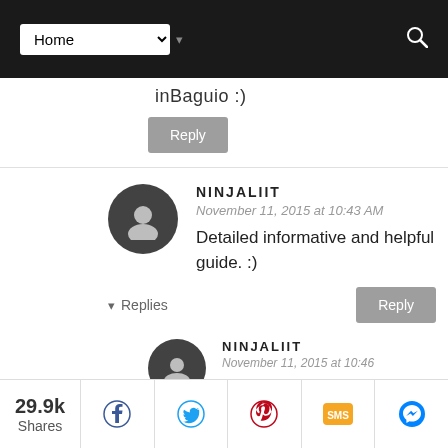Home [dropdown] [search]
inBaguio :)
Reply
NINJALIIT
November 11, 2015 at 10:43 AM
Detailed informative and helpful guide. :)
Reply
Replies
NINJALIIT
November 11, 2015 at 10:46
29.9k Shares [Facebook] [Twitter] [Pinterest] [SMS] [Messenger]